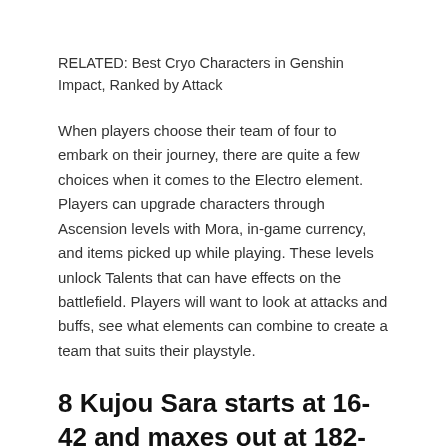RELATED: Best Cryo Characters in Genshin Impact, Ranked by Attack
When players choose their team of four to embark on their journey, there are quite a few choices when it comes to the Electro element. Players can upgrade characters through Ascension levels with Mora, in-game currency, and items picked up while playing. These levels unlock Talents that can have effects on the battlefield. Players will want to look at attacks and buffs, see what elements can combine to create a team that suits their playstyle.
8 Kujou Sara starts at 16-42 and maxes out at 182-195
[Figure (photo): Kujou Sara from Genshin Impact]